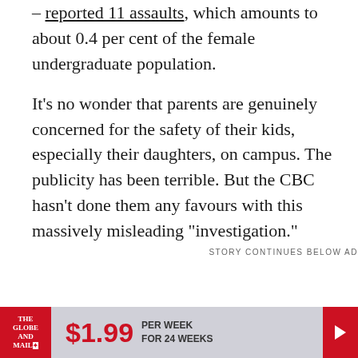– reported 11 assaults, which amounts to about 0.4 per cent of the female undergraduate population.
It's no wonder that parents are genuinely concerned for the safety of their kids, especially their daughters, on campus. The publicity has been terrible. But the CBC hasn't done them any favours with this massively misleading "investigation."
STORY CONTINUES BELOW AD
[Figure (other): The Globe and Mail advertisement banner: red logo box on left with 'THE GLOBE AND MAIL' text, large red '$1.99' price, 'PER WEEK FOR 24 WEEKS' text, grey background, red arrow button on right]